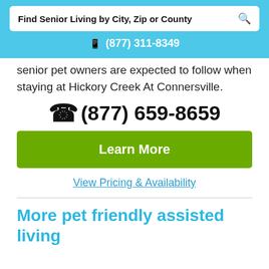Find Senior Living by City, Zip or County
(877) 311-8349
senior pet owners are expected to follow when staying at Hickory Creek At Connersville.
(877) 659-8659
Learn More
View Pricing & Availability
More pet friendly assisted living